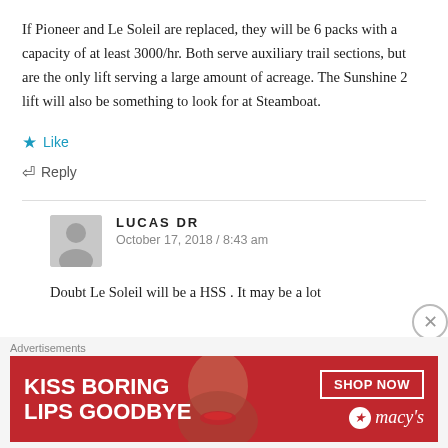If Pioneer and Le Soleil are replaced, they will be 6 packs with a capacity of at least 3000/hr. Both serve auxiliary trail sections, but are the only lift serving a large amount of acreage. The Sunshine 2 lift will also be something to look for at Steamboat.
★ Like
↩ Reply
LUCAS DR
October 17, 2018 / 8:43 am
Doubt Le Soleil will be a HSS . It may be a lot
Advertisements
[Figure (photo): Macy's advertisement banner: red background with woman's face, text 'KISS BORING LIPS GOODBYE', SHOP NOW button, and Macy's logo with star]